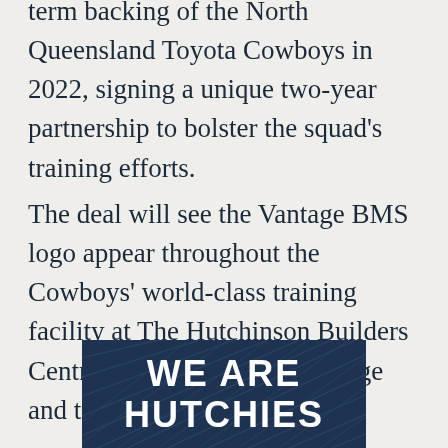term backing of the North Queensland Toyota Cowboys in 2022, signing a unique two-year partnership to bolster the squad's training efforts.
The deal will see the Vantage BMS logo appear throughout the Cowboys' world-class training facility at The Hutchinson Builders Centre in Townsville, on signage and training balls.
[Figure (illustration): Dark navy blue banner with diagonal cross-hatch pattern and bold white text reading WE ARE HUTCHIES]